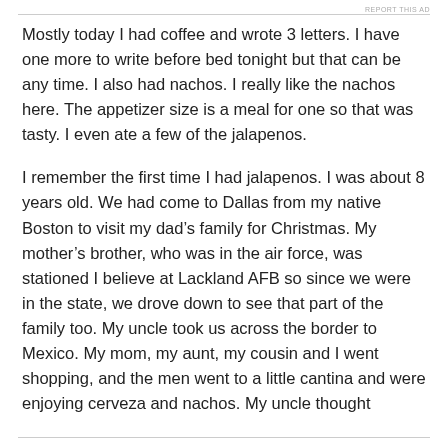REPORT THIS AD
Mostly today I had coffee and wrote 3 letters. I have one more to write before bed tonight but that can be any time. I also had nachos. I really like the nachos here. The appetizer size is a meal for one so that was tasty. I even ate a few of the jalapenos.
I remember the first time I had jalapenos. I was about 8 years old. We had come to Dallas from my native Boston to visit my dad’s family for Christmas. My mother’s brother, who was in the air force, was stationed I believe at Lackland AFB so since we were in the state, we drove down to see that part of the family too. My uncle took us across the border to Mexico. My mom, my aunt, my cousin and I went shopping, and the men went to a little cantina and were enjoying cerveza and nachos. My uncle thought